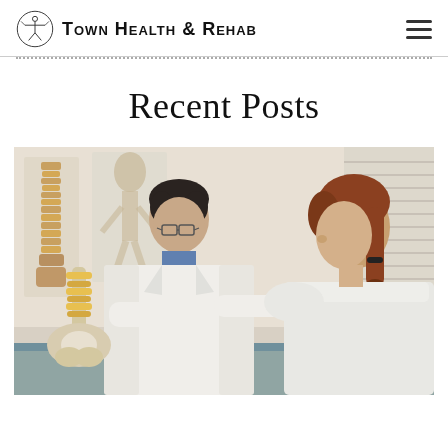Town Health & Rehab
Recent Posts
[Figure (photo): A doctor in a white lab coat showing a spine anatomical model to a female patient seated across a desk in a medical office setting.]